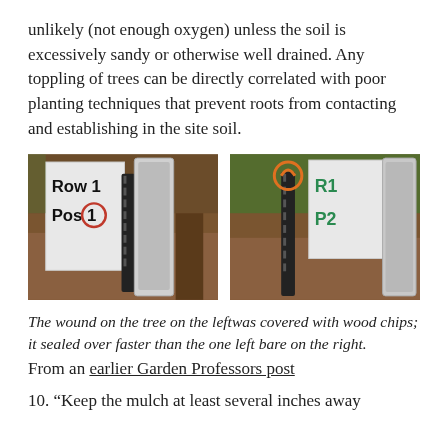unlikely (not enough oxygen) unless the soil is excessively sandy or otherwise well drained. Any toppling of trees can be directly correlated with poor planting techniques that prevent roots from contacting and establishing in the site soil.
[Figure (photo): Two side-by-side photos of tree monitoring instruments. Left photo shows a device labeled 'Row 1 Pos 1' with a circular red mark, inserted into a mound of wood chips/soil. Right photo shows a similar device labeled 'R1 P2' with a circular orange/red handle, also in a wood chip/soil mound.]
The wound on the tree on the leftwas covered with wood chips; it sealed over faster than the one left bare on the right.
From an earlier Garden Professors post
10. “Keep the mulch at least several inches away